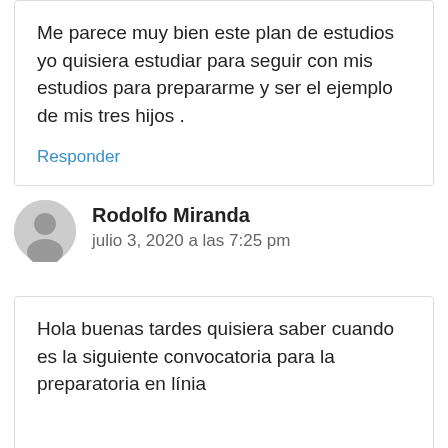Me parece muy bien este plan de estudios yo quisiera estudiar para seguir con mis estudios para prepararme y ser el ejemplo de mis tres hijos .
Responder
Rodolfo Miranda
julio 3, 2020 a las 7:25 pm
Hola buenas tardes quisiera saber cuando es la siguiente convocatoria para la preparatoria en línia